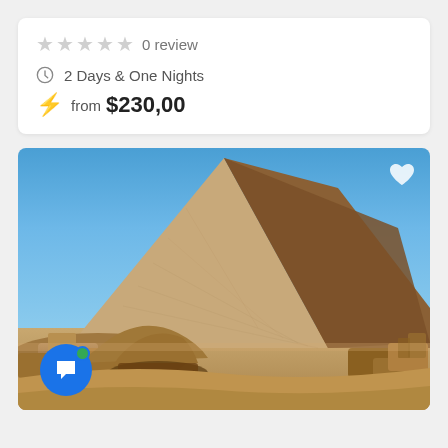0 review
2 Days & One Nights
from $230,00
[Figure (photo): Photograph of the Great Pyramid of Giza against a clear blue sky, with sandy ancient ruins in the foreground. A white heart icon appears in the top-right corner of the image. A blue circular chat button with a white speech bubble icon and a green online dot appears in the lower-left area.]